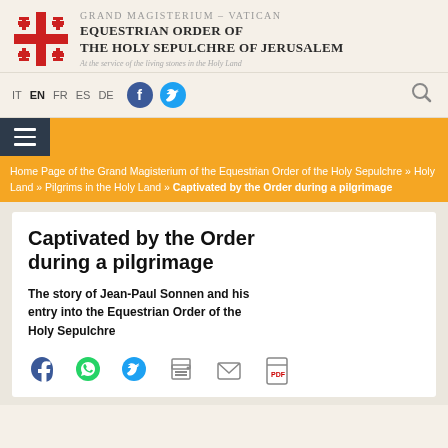[Figure (logo): Red Jerusalem Cross logo (cross with four smaller crosses in quadrants)]
GRAND MAGISTERIUM – VATICAN
EQUESTRIAN ORDER OF
THE HOLY SEPULCHRE OF JERUSALEM
At the service of the living stones in the Holy Land
IT  EN  FR  ES  DE
Home Page of the Grand Magisterium of the Equestrian Order of the Holy Sepulchre » Holy Land » Pilgrims in the Holy Land » Captivated by the Order during a pilgrimage
Captivated by the Order during a pilgrimage
The story of Jean-Paul Sonnen and his entry into the Equestrian Order of the Holy Sepulchre